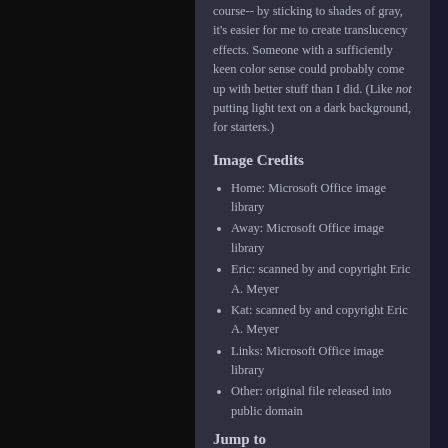course-- by sticking to shades of gray, it's easier for me to create translucency effects. Someone with a sufficiently keen color sense could probably come up with better stuff than I did. (Like not putting light text on a dark background, for starters.)
Image Credits
Home: Microsoft Office image library
Away: Microsoft Office image library
Eric: scanned by and copyright Eric A. Meyer
Kat: scanned by and copyright Eric A. Meyer
Links: Microsoft Office image library
Other: original file released into public domain
Jump to
css/edge home
pure CSS popups